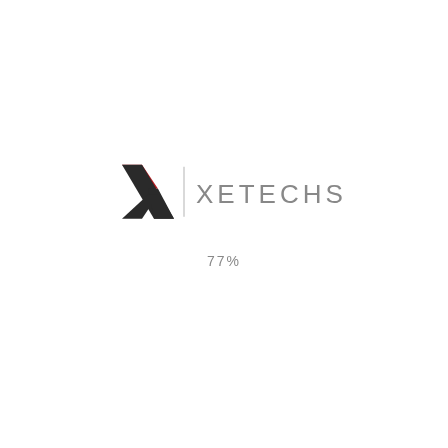[Figure (logo): Xetechs company logo: a stylized X with red and dark grey/black geometric shapes on the left, a vertical divider line, and the text XETECHS in wide-spaced grey capital letters on the right]
77%